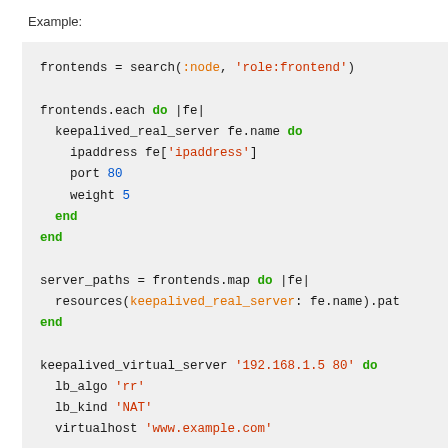Example:
[Figure (screenshot): Code block showing Ruby/Chef recipe code with syntax highlighting. Uses monospace font on a light gray background. Code includes: frontends = search(:node, 'role:frontend'), frontends.each do |fe|, keepalived_real_server fe.name do, ipaddress fe['ipaddress'], port 80, weight 5, end, end, server_paths = frontends.map do |fe|, resources(keepalived_real_server: fe.name).pat, end, keepalived_virtual_server '192.168.1.5 80' do, lb_algo 'rr', lb_kind 'NAT', virtualhost 'www.example.com']